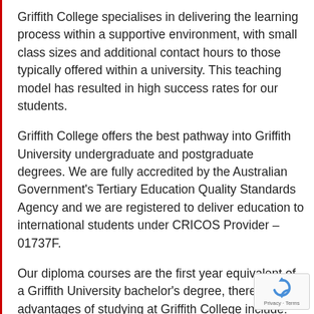Griffith College specialises in delivering the learning process within a supportive environment, with small class sizes and additional contact hours to those typically offered within a university. This teaching model has resulted in high success rates for our students.
Griffith College offers the best pathway into Griffith University undergraduate and postgraduate degrees. We are fully accredited by the Australian Government's Tertiary Education Quality Standards Agency and we are registered to deliver education to international students under CRICOS Provider – 01737F.
Our diploma courses are the first year equivalent of a Griffith University bachelor's degree, therefore the advantages of studying at Griffith College include:
Griffith College graduates are eligible for entry into second year of the equivalent bachelor degree at Griffith...